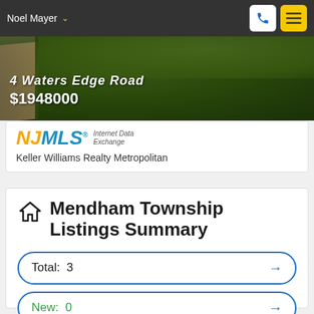Noel Mayer
[Figure (photo): Aerial view of property with dirt road and green trees. Text overlay shows '4 Waters Edge Road' and '$1948000']
4 Waters Edge Road
$1948000
[Figure (logo): NJMLS Internet Data Exchange logo with Keller Williams Realty Metropolitan text]
Keller Williams Realty Metropolitan
Mendham Township Listings Summary
Total: 3
New: 0